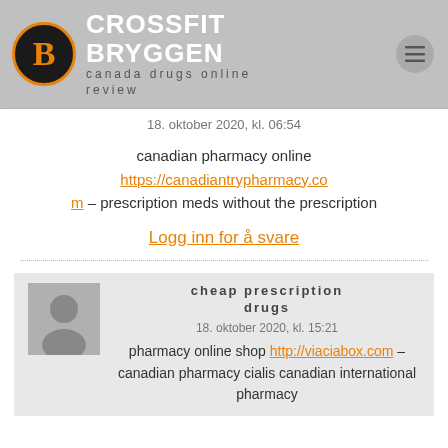CROSSFIT BRYGGEN — canada drugs online review
18. oktober 2020, kl. 06:54
canadian pharmacy online https://canadiantrypharmacy.com – prescription meds without the prescription
Logg inn for å svare
cheap prescription drugs
18. oktober 2020, kl. 15:21
pharmacy online shop http://viaciabox.com – canadian pharmacy cialis canadian international pharmacy